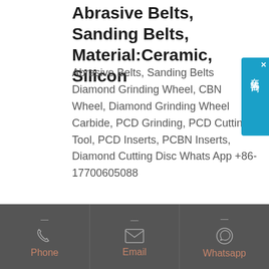Abrasive Belts, Sanding Belts, Material:Ceramic, Silicon
Abrasive Belts, Sanding Belts Diamond Grinding Wheel, CBN Wheel, Diamond Grinding Wheel Carbide, PCD Grinding, PCD Cutting Tool, PCD Inserts, PCBN Inserts, Diamond Cutting Disc Whats App +86-17700605088
[Figure (other): Blue sidebar chat widget with Chinese characters 在线咨询 (Online Consultation) and a close X button]
[Figure (other): Get Quote button, rounded rectangle, brown/terracotta color]
Phone | Email | Whatsapp footer bar with icons